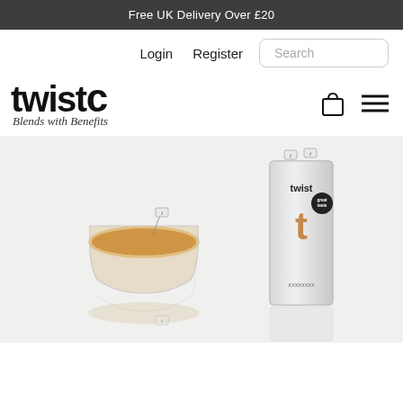Free UK Delivery Over £20
Login   Register
Search
[Figure (logo): Twist tea brand logo with text 'twist' in bold black and italic tagline 'Blends with Benefits']
[Figure (photo): Product photo showing a glass cup of tea with a Twist teabag tag, alongside a silver Twist tea box packaging, reflected on a white glossy surface]